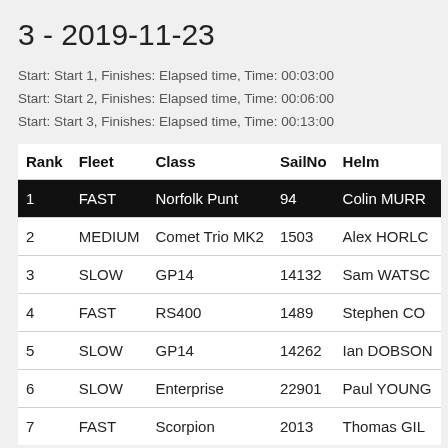3 - 2019-11-23
Start: Start 1, Finishes: Elapsed time, Time: 00:03:00
Start: Start 2, Finishes: Elapsed time, Time: 00:06:00
Start: Start 3, Finishes: Elapsed time, Time: 00:13:00
| Rank | Fleet | Class | SailNo | Helm |
| --- | --- | --- | --- | --- |
| 1 | FAST | Norfolk Punt | 94 | Colin MURR… |
| 2 | MEDIUM | Comet Trio MK2 | 1503 | Alex HORLC… |
| 3 | SLOW | GP14 | 14132 | Sam WATSC… |
| 4 | FAST | RS400 | 1489 | Stephen CO… |
| 5 | SLOW | GP14 | 14262 | Ian DOBSON… |
| 6 | SLOW | Enterprise | 22901 | Paul YOUNG… |
| 7 | FAST | Scorpion | 2013 | Thomas GIL… |